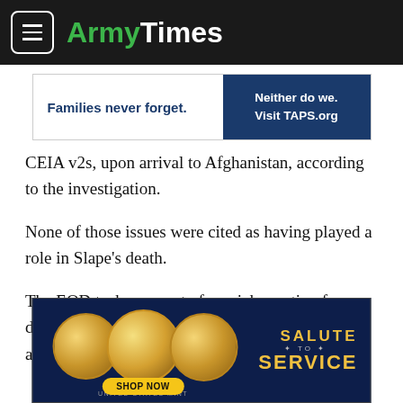ArmyTimes
[Figure (other): TAPS advertisement: 'Families never forget. Neither do we. Visit TAPS.org']
CEIA v2s, upon arrival to Afghanistan, according to the investigation.
None of those issues were cited as having played a role in Slape's death.
The EOD tech was part of a quick reaction force dispatched to the ridge miles from Camp Dwyer after a 20-ton MaxxPro on
[Figure (other): United States Mint advertisement: 'Salute to Service — Shop Now' with gold coins]